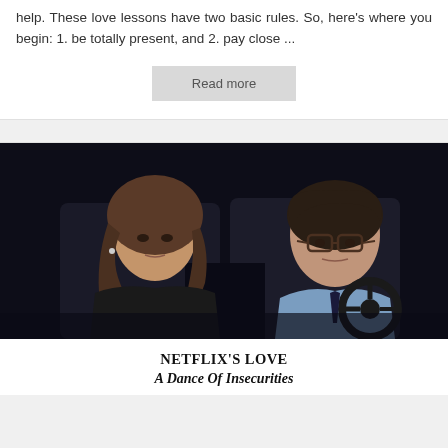help. These love lessons have two basic rules. So, here's where you begin: 1. be totally present, and 2. pay close ...
Read more
[Figure (photo): A man and woman inside a car at night. The woman is on the left with long wavy hair looking forward with a serious expression. The man on the right is wearing glasses and a light blue shirt, driving.]
NETFLIX'S LOVE
A Dance Of Insecurities